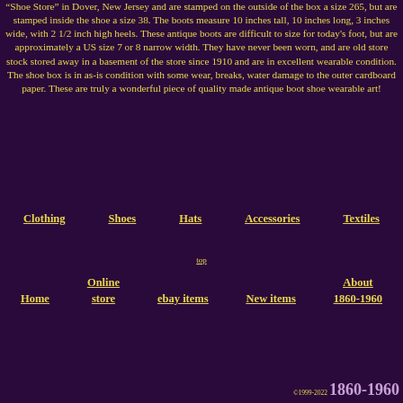"Shoe Store" in Dover, New Jersey and are stamped on the outside of the box a size 265, but are stamped inside the shoe a size 38. The boots measure 10 inches tall, 10 inches long, 3 inches wide, with 2 1/2 inch high heels. These antique boots are difficult to size for today's foot, but are approximately a US size 7 or 8 narrow width. They have never been worn, and are old store stock stored away in a basement of the store since 1910 and are in excellent wearable condition. The shoe box is in as-is condition with some wear, breaks, water damage to the outer cardboard paper. These are truly a wonderful piece of quality made antique boot shoe wearable art!
Clothing
Shoes
Hats
Accessories
Textiles
top
Home
Online store
ebay items
New items
About 1860-1960
©1999-2022 1860-1960